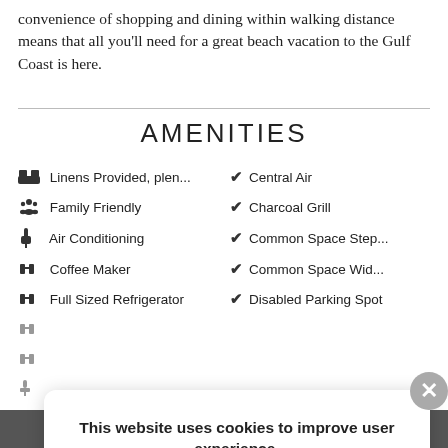convenience of shopping and dining within walking distance means that all you'll need for a great beach vacation to the Gulf Coast is here.
AMENITIES
Linens Provided, plen...
Family Friendly
Air Conditioning
Coffee Maker
Full Sized Refrigerator
Central Air
Charcoal Grill
Common Space Step...
Common Space Wid...
Disabled Parking Spot
This website uses cookies to improve user experience. By using this site, you agree to all cookies in accordance with our Cookie Policy